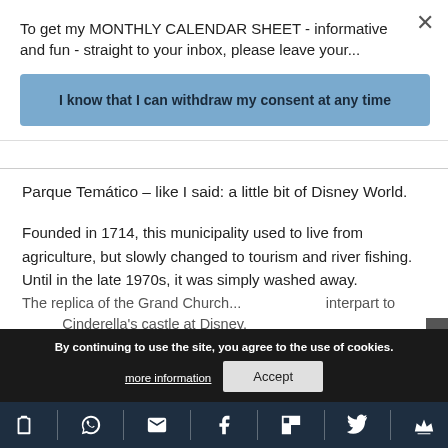To get my MONTHLY CALENDAR SHEET - informative and fun - straight to your inbox, please leave your...
I know that I can withdraw my consent at any time
Parque Temático – like I said: a little bit of Disney World.
Founded in 1714, this municipality used to live from agriculture, but slowly changed to tourism and river fishing. Until in the late 1970s, it was simply washed away.
The replica of the Grand Church... interpart to Cinderella's castle at Disney.
By continuing to use the site, you agree to the use of cookies.
more information
Accept